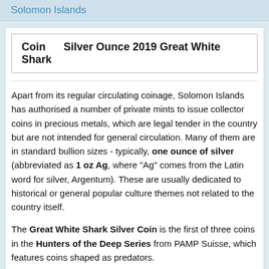Solomon Islands
Coin     Silver Ounce 2019 Great White Shark
Apart from its regular circulating coinage, Solomon Islands has authorised a number of private mints to issue collector coins in precious metals, which are legal tender in the country but are not intended for general circulation. Many of them are in standard bullion sizes - typically, one ounce of silver (abbreviated as 1 oz Ag, where "Ag" comes from the Latin word for silver, Argentum). These are usually dedicated to historical or general popular culture themes not related to the country itself.
The Great White Shark Silver Coin is the first of three coins in the Hunters of the Deep Series from PAMP Suisse, which features coins shaped as predators.
Great Whites are Earth's biggest predatory fish. They